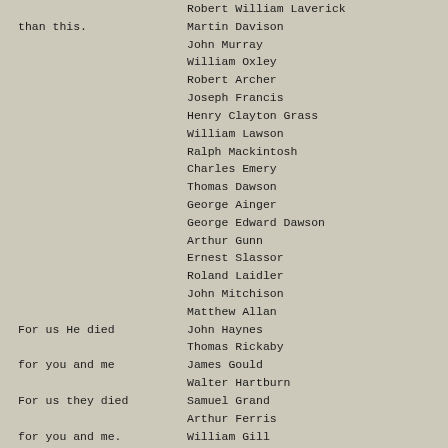Robert William Laverick
than this.
Martin Davison
John Murray
William Oxley
Robert Archer
Joseph Francis
Henry Clayton Grass
William Lawson
Ralph Mackintosh
Charles Emery
Thomas Dawson
George Ainger
George Edward Dawson
Arthur Gunn
Ernest Slassor
Roland Laidler
John Mitchison
Matthew Allan
For us He died
John Haynes
Thomas Rickaby
for you and me
James Gould
Walter Hartburn
For us they died
Samuel Grand
Arthur Ferris
for you and me.
William Gill
John Fletcher
Thomas Anderson
Joseph Teasdale
John W.Laws
- - - - - - - - - - - - - - - - - - - - - - - - - - - - - - - - - - - - - - - -